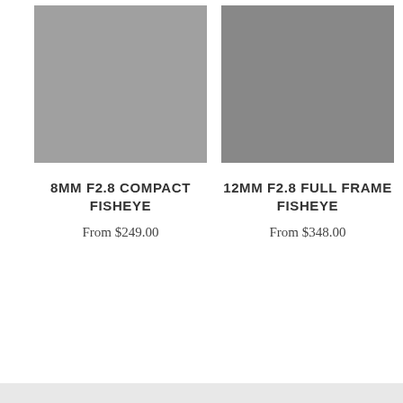[Figure (photo): Gray placeholder image for 8mm F2.8 Compact Fisheye lens product]
8MM F2.8 COMPACT FISHEYE
From $249.00
[Figure (photo): Gray placeholder image for 12mm F2.8 Full Frame Fisheye lens product]
12MM F2.8 FULL FRAME FISHEYE
From $348.00